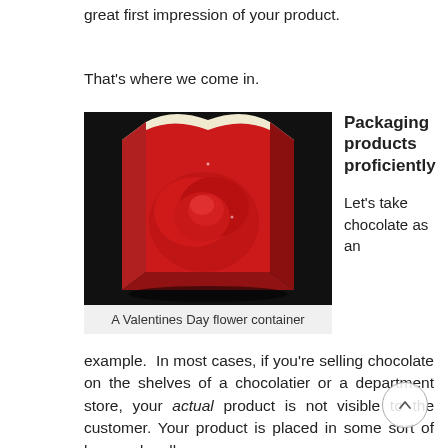great first impression of your product.
That's where we come in.
[Figure (photo): A red packaging box shaped like a vase with a rose design, photographed against a dark background.]
A Valentines Day flower container
Packaging products proficiently
Let's take chocolate as an example.  In most cases, if you're selling chocolate on the shelves of a chocolatier or a department store, your actual product is not visible to the customer. Your product is placed in some sort of box, and – all